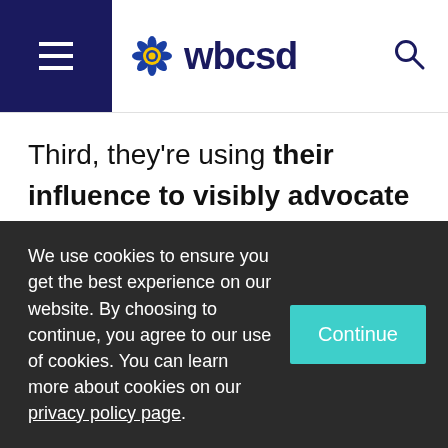wbcsd
Third, they're using their influence to visibly advocate for ambitious policies and standards. COP26 demonstrated the importance of multilateral, multi-stakeholder action, and as we approach the
We use cookies to ensure you get the best experience on our website. By choosing to continue, you agree to our use of cookies. You can learn more about cookies on our privacy policy page.